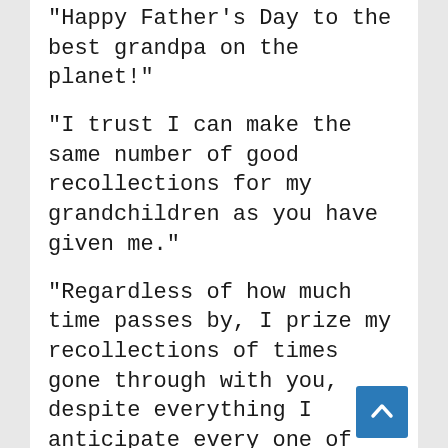"Happy Father's Day to the best grandpa on the planet!"
"I trust I can make the same number of good recollections for my grandchildren as you have given me."
"Regardless of how much time passes by, I prize my recollections of times gone through with you, despite everything I anticipate every one of our circumstances together."
"For showing me to fish, to make open air fires and to dependably be caring, expresses gratitude toward Grandpa!"
"I trust you know the amount I respect the man you are, Grandpa."